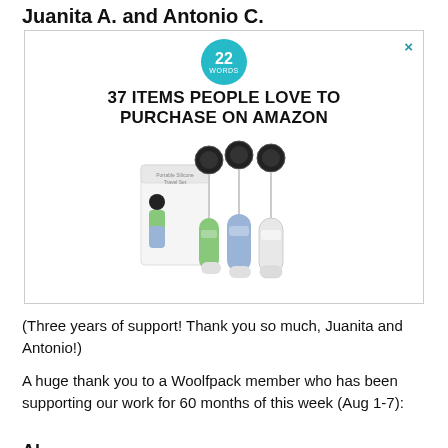Juanita A. and Antonio C.
[Figure (other): Advertisement from '22 Words' website showing retractable badge reel travel bottles. Bold headline reads '37 ITEMS PEOPLE LOVE TO PURCHASE ON AMAZON' with a product image of retractable badge-reel style travel bottles in green, blue, and white/clear colors with black retractable tops.]
(Three years of support! Thank you so much, Juanita and Antonio!)
A huge thank you to a Woolfpack member who has been supporting our work for 60 months of this week (Aug 1-7):
Al...